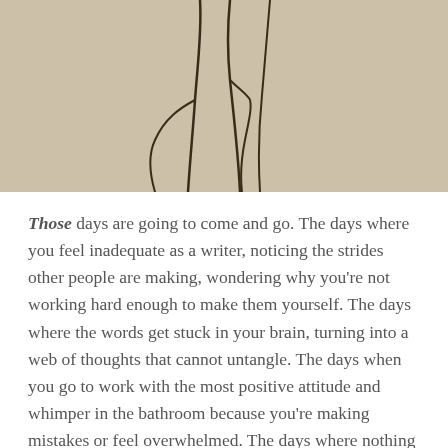[Figure (illustration): A pencil or charcoal sketch on beige/tan paper showing abstract hand or figure lines drawn in dark brown/black strokes.]
Those days are going to come and go. The days where you feel inadequate as a writer, noticing the strides other people are making, wondering why you're not working hard enough to make them yourself. The days where the words get stuck in your brain, turning into a web of thoughts that cannot untangle. The days when you go to work with the most positive attitude and whimper in the bathroom because you're making mistakes or feel overwhelmed. The days where nothing you do is right, or even enough. One of those days where you feel like shedding your skin and starting fresh.